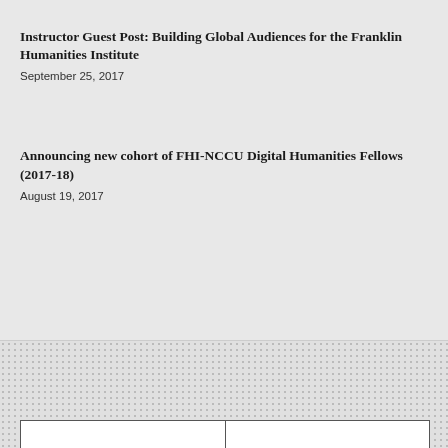...
Instructor Guest Post: Building Global Audiences for the Franklin Humanities Institute
September 25, 2017
Announcing new cohort of FHI-NCCU Digital Humanities Fellows (2017-18)
August 19, 2017